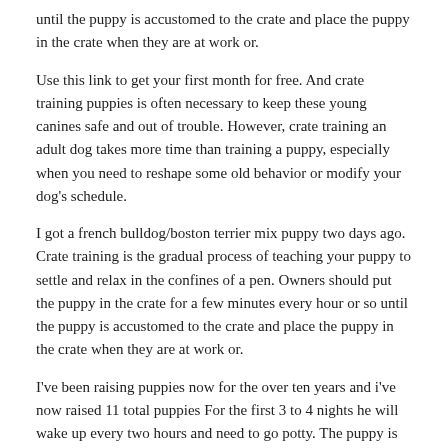until the puppy is accustomed to the crate and place the puppy in the crate when they are at work or.
Use this link to get your first month for free. And crate training puppies is often necessary to keep these young canines safe and out of trouble. However, crate training an adult dog takes more time than training a puppy, especially when you need to reshape some old behavior or modify your dog’s schedule.
I got a french bulldog/boston terrier mix puppy two days ago. Crate training is the gradual process of teaching your puppy to settle and relax in the confines of a pen. Owners should put the puppy in the crate for a few minutes every hour or so until the puppy is accustomed to the crate and place the puppy in the crate when they are at work or.
I’ve been raising puppies now for the over ten years and i’ve now raised 11 total puppies For the first 3 to 4 nights he will wake up every two hours and need to go potty. The puppy is not yet old enough to control the need for constant bathroom breaks.
Effective puppy crate training schedule. Therefore, you need to find the right times to teach your puppy that the crate is its personal space. Like our potty training basics section this section is a how to get started guide for crate training.